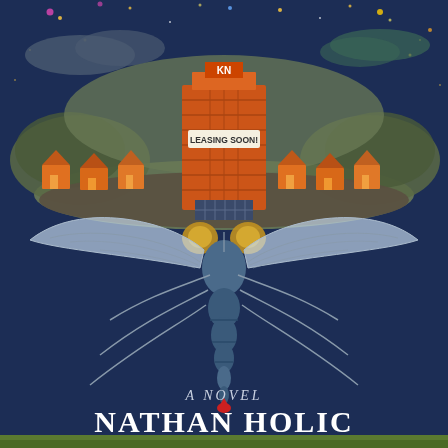[Figure (illustration): Book cover illustration: a large mosquito with translucent wings, carrying on its back a floating island with a neighborhood of small orange houses and a tall orange apartment building with a 'LEASING SOON!' banner and a KN sign on top. The background is a dark navy night sky with stars and small colored dots. Below the mosquito is a blood droplet. Text reads 'A NOVEL' and 'NATHAN HOLIC' at the bottom.]